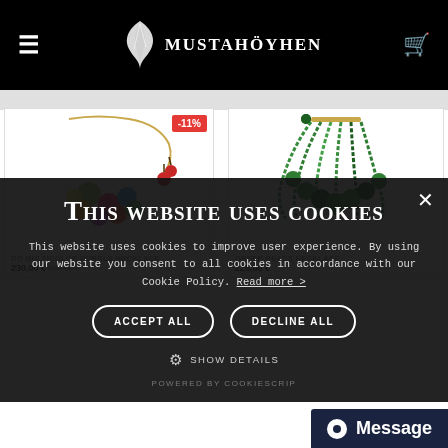[Figure (screenshot): Website header with hamburger menu icon on left, Mustahöyhen logo with feather in center, shopping cart icon on right, all on black background]
[Figure (screenshot): Product card: multicolor bubble necklace with -11% discount badge, price 230.00€ (was 260.00€)]
[Figure (screenshot): Product card: green beads necklace, price 225.00€]
This website uses cookies
This website uses cookies to improve user experience. By using our website you consent to all cookies in accordance with our Cookie Policy. Read more >
ACCEPT ALL
DECLINE ALL
SHOW DETAILS
POWERED BY COOKIESCRIP
[Figure (other): Message chat bubble icon in bottom right corner with dark navy background]